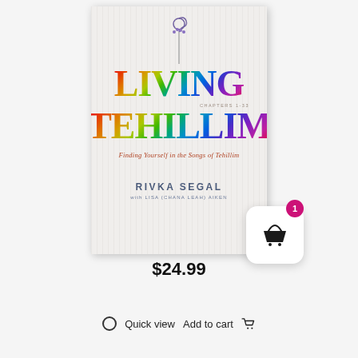[Figure (illustration): Book cover of 'Living Tehillim' by Rivka Segal with Lisa (Chana Leah) Aiken. Cover shows colorful rainbow-gradient large letters spelling LIVING TEHILLIM with a violin scroll at top. Subtitle: Finding Yourself in the Songs of Tehillim. Chapters 1-33 noted on cover. A shopping cart icon with badge showing '1' is overlaid at bottom right.]
$24.99
Quick view   Add to cart